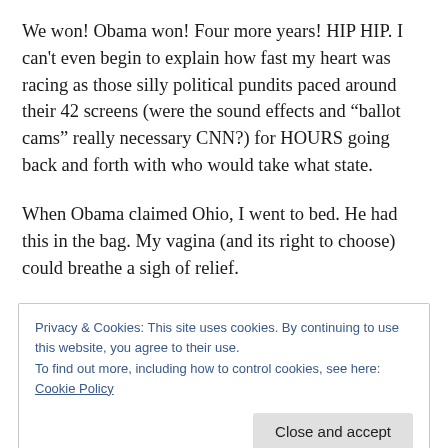We won! Obama won! Four more years! HIP HIP. I can't even begin to explain how fast my heart was racing as those silly political pundits paced around their 42 screens (were the sound effects and “ballot cams” really necessary CNN?) for HOURS going back and forth with who would take what state.
When Obama claimed Ohio, I went to bed. He had this in the bag. My vagina (and its right to choose) could breathe a sigh of relief.
Privacy & Cookies: This site uses cookies. By continuing to use this website, you agree to their use. To find out more, including how to control cookies, see here: Cookie Policy
I according in the great state of Tennessee. Graduating